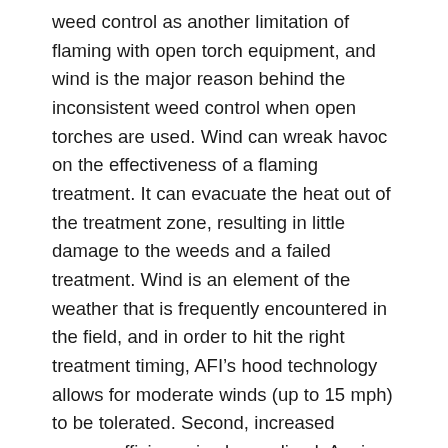weed control as another limitation of flaming with open torch equipment, and wind is the major reason behind the inconsistent weed control when open torches are used. Wind can wreak havoc on the effectiveness of a flaming treatment. It can evacuate the heat out of the treatment zone, resulting in little damage to the weeds and a failed treatment. Wind is an element of the weather that is frequently encountered in the field, and in order to hit the right treatment timing, AFI’s hood technology allows for moderate winds (up to 15 mph) to be tolerated. Second, increased energy efficiency is also realized. Again, open torch technology ceases control of the hot combustion gases once they exit the torch. AFI’s hood technology and robust torches complement each